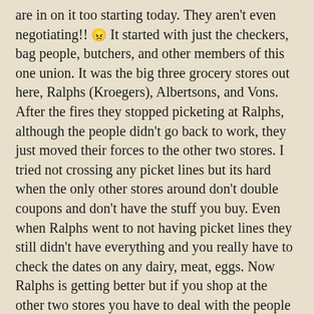are in on it too starting today. They aren't even negotiating!! 😠 It started with just the checkers, bag people, butchers, and other members of this one union. It was the big three grocery stores out here, Ralphs (Kroegers), Albertsons, and Vons. After the fires they stopped picketing at Ralphs, although the people didn't go back to work, they just moved their forces to the other two stores. I tried not crossing any picket lines but its hard when the only other stores around don't double coupons and don't have the stuff you buy. Even when Ralphs went to not having picket lines they still didn't have everything and you really have to check the dates on any dairy, meat, eggs. Now Ralphs is getting better but if you shop at the other two stores you have to deal with the people picketing and now they are going to start running out of food with no one delivering any.

All because they don't want to pay any part of their medical. Before it was all paid by the company, now they would have to pay a $5 a month for a single, or $15 a month for a family, $10